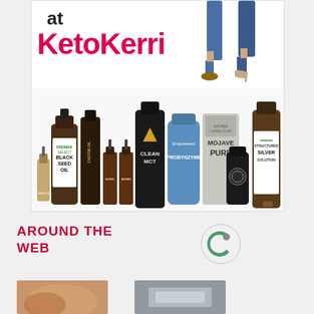[Figure (illustration): Advertisement banner for KetoKerri showing 'at KetoKerri' text in red and black, a photo of legs (couple in jeans and heels), and an array of health supplement products including Black Seed Oil, Castor Oil, Clean MCT, Probynzyme, Mojave Pure, Structured Silver Solution, and various other supplements.]
AROUND THE WEB
[Figure (logo): Circular green and gray logo (Taboola or similar content recommendation widget)]
[Figure (photo): Thumbnail image with warm brown tones]
[Figure (photo): Thumbnail image with gray/silver tones]